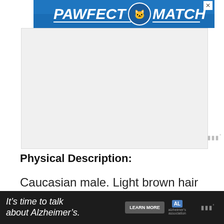[Figure (illustration): Blue advertisement banner reading PAWFECT MATCH with a cat logo in the center]
[Figure (photo): Large white/gray advertisement placeholder area]
Physical Description:
Caucasian male. Light brown hair with brown eyes. He is 5’11” to 6’0” tall and weighs 175 – 190 pounds.
[Figure (illustration): Dark advertisement banner reading It’s time to talk about Alzheimer’s. with a Learn More button and Alzheimer’s Association logo]